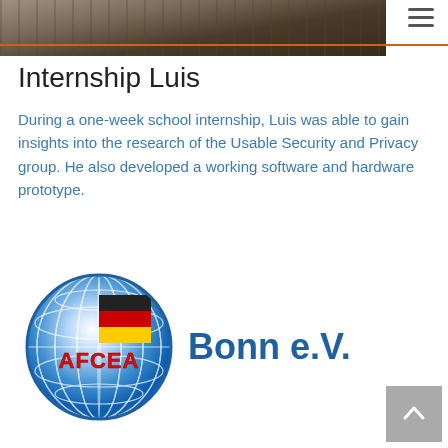≡
[Figure (photo): Partial photo strip at the top showing a dark mechanical/workshop scene]
Internship Luis
During a one-week school internship, Luis was able to gain insights into the research of the Usable Security and Privacy group. He also developed a working software and hardware prototype.
[Figure (logo): AFCEA Bonn e.V. logo — globe with German flag colors and red AFCEA text, alongside 'Bonn e.V.' in blue bold text]